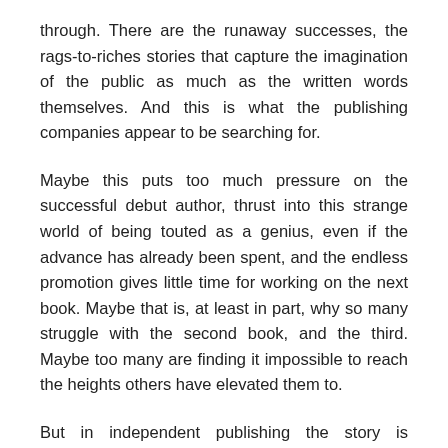through. There are the runaway successes, the rags-to-riches stories that capture the imagination of the public as much as the written words themselves. And this is what the publishing companies appear to be searching for.
Maybe this puts too much pressure on the successful debut author, thrust into this strange world of being touted as a genius, even if the advance has already been spent, and the endless promotion gives little time for working on the next book. Maybe that is, at least in part, why so many struggle with the second book, and the third. Maybe too many are finding it impossible to reach the heights others have elevated them to.
But in independent publishing the story is different.